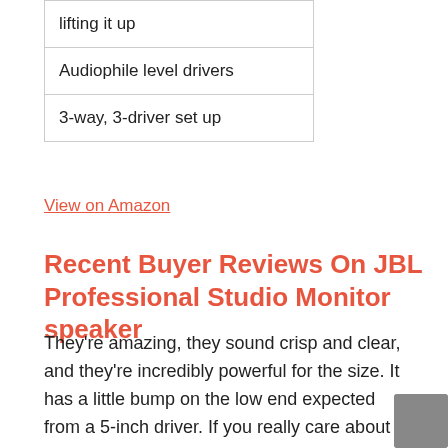| lifting it up |
| Audiophile level drivers |
| 3-way, 3-driver set up |
View on Amazon
Recent Buyer Reviews On JBL Professional Studio Monitor speaker
They're amazing, they sound crisp and clear, and they're incredibly powerful for the size. It has a little bump on the low end expected from a 5-inch driver. If you really care about this, put a woofer in